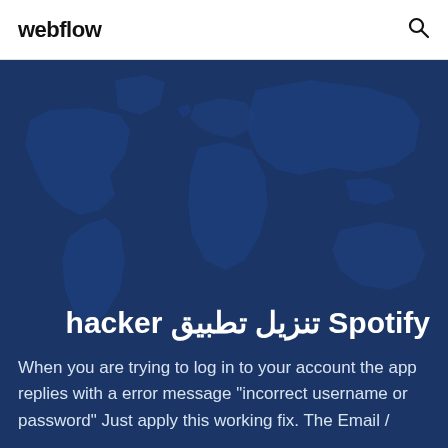webflow
Spotify تنزيل تطبيق hacker
When you are trying to log in to your account the app replies with a error message "incorrect username or password" Just apply this working fix. The Email /